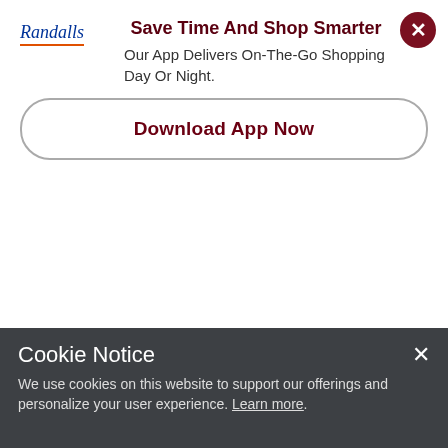[Figure (logo): Randalls logo with italic text and orange underline]
Save Time And Shop Smarter
Our App Delivers On-The-Go Shopping Day Or Night.
Download App Now
reaches back teeth perfectly. Cools & calms tender gums. Ring Handle: Curved shape is easy to grab & hold. 5 Textures: Massage sensitive gums. Developed with Medical Experts: Teamwork with medical experts for maximum safety. Only after approval by medical experts is a MAM innovation ready for baby life. Instructions inside. Please keep instructions for future use. BPA BPS free (BPA/BPS free: All MAM products are made from materials free of BPA and BPS). CE listed. The teether meets the requirements of EN71. mambaby.com. For
Cookie Notice
We use cookies on this website to support our offerings and personalize your user experience. Learn more.